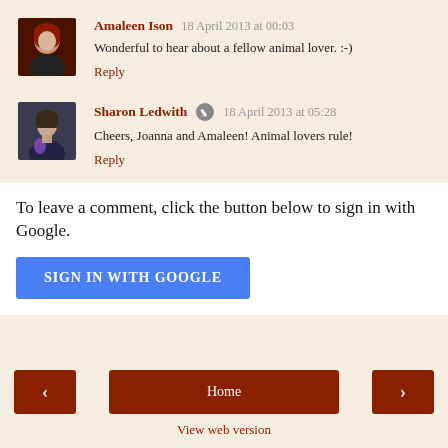[Figure (photo): Avatar thumbnail of Amaleen Ison - woman with red hair on dark background]
Amaleen Ison  18 April 2013 at 00:03
Wonderful to hear about a fellow animal lover. :-)
Reply
[Figure (photo): Avatar thumbnail of Sharon Ledwith - woman in dark clothing with purple item]
Sharon Ledwith  18 April 2013 at 05:28
Cheers, Joanna and Amaleen! Animal lovers rule!
Reply
To leave a comment, click the button below to sign in with Google.
SIGN IN WITH GOOGLE
Home | View web version